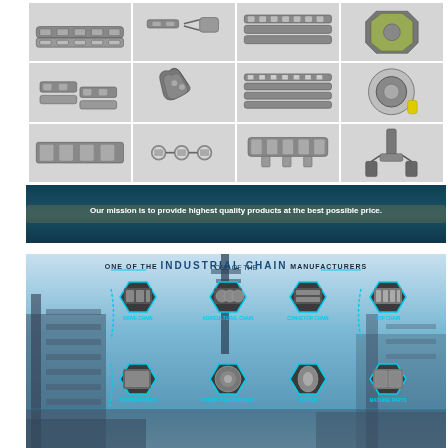[Figure (photo): Collage of industrial chain products including roller chains, connecting links, attachments, sprockets, conveyor chains, and chain tools arranged in a 4x3 grid on white background]
[Figure (photo): Banner image showing industrial chain on machinery with text overlay: 'Our mission is to provide highest quality products at the best possible price.']
[Figure (infographic): Industrial chain manufacturer advertisement with text 'ONE OF THE INDUSTRIAL CHAIN MANUFACTURERS' and hexagonal product showcase panels showing: Drive Chain, Agricultural Chain, Conveyor Chain, Top Chain (top row), and additional product categories in bottom row including Power Transmission and Machine Parts, set against industrial facility background]